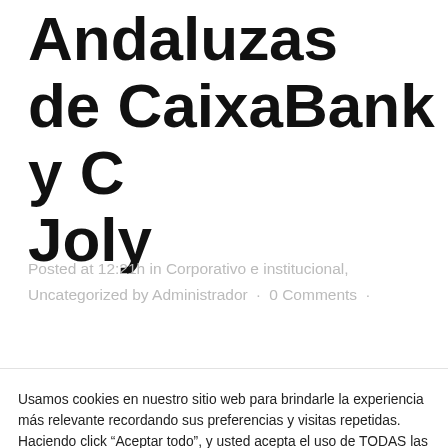Andaluzas de CaixaBank y C Joly
Posted at 12:21h in Corporativo e institucional, Uncategorized by Administrador · 0 Comments ·
Usamos cookies en nuestro sitio web para brindarle la experiencia más relevante recordando sus preferencias y visitas repetidas. Haciendo click “Aceptar todo”, y usted acepta el uso de TODAS las cookies. Sin embargo, puede visitar "Configuración de cookies" para proporcionar un consentimiento controlado.